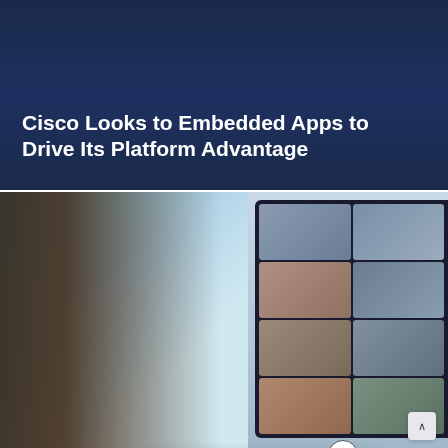Cisco Looks to Embedded Apps to Drive Its Platform Advantage
[Figure (photo): Man in light blue shirt looking at a monitor screen showing a video conference grid with multiple participants]
This site uses cookies to provide you with the best user experience possible. By using No Jitter, you accept our use of cookies.